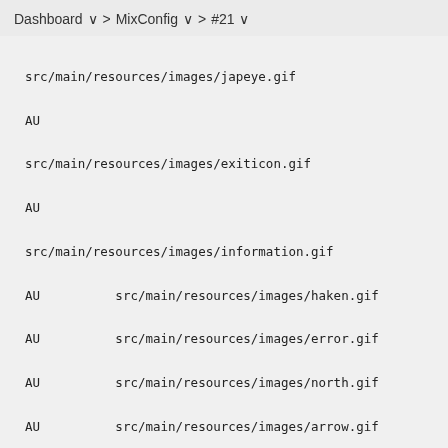Dashboard  >  MixConfig  >  #21
src/main/resources/images/japeye.gif
AU
src/main/resources/images/exiticon.gif
AU
src/main/resources/images/information.gif
AU          src/main/resources/images/haken.gif
AU          src/main/resources/images/error.gif
AU          src/main/resources/images/north.gif
AU          src/main/resources/images/arrow.gif
AU
src/main/resources/images/icon32.gif
AU
src/main/resources/MixConfigMessages_en.properties
A           src/main/resources/help
A           src/main/resources/help/en
A           src/main/resources/help/en/help
AU